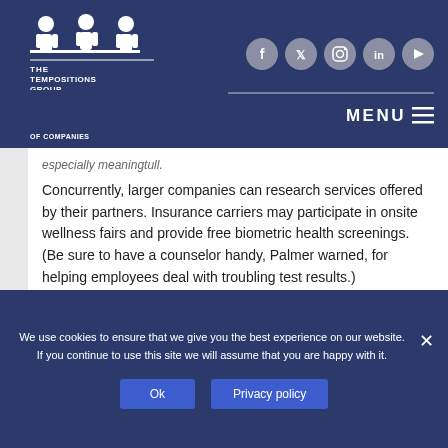[Figure (logo): The TemPositions Group of Companies logo with three human figure icons above the text]
[Figure (infographic): Social media icons: Facebook, Twitter, Instagram, LinkedIn, YouTube in grey circles]
MENU
espectally meaningtull.
Concurrently, larger companies can research services offered by their partners. Insurance carriers may participate in onsite wellness fairs and provide free biometric health screenings. (Be sure to have a counselor handy, Palmer warned, for helping employees deal with troubling test results.)
Some carriers provide cold cash for wellness initiatives—
We use cookies to ensure that we give you the best experience on our website. If you continue to use this site we will assume that you are happy with it.
Ok
Privacy policy